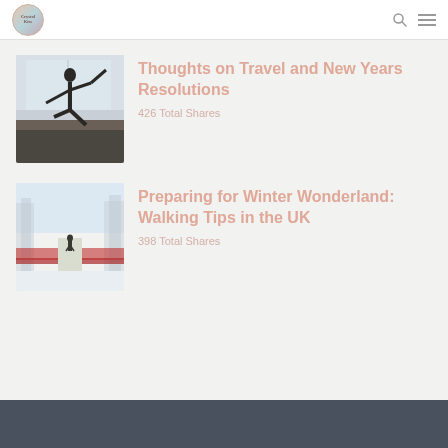[Figure (logo): Circular logo with gradient colors - teal, pink, blue tones]
Thoughts on Travel and New Years Resolutions
426 Total Shares
[Figure (photo): Person doing yoga/balance pose in a room with windows]
Preparing for Winter Wonderland: Walking Tips in the UK
398 Total Shares
[Figure (photo): Snowy winter path with bare trees and a person walking on a bridge]